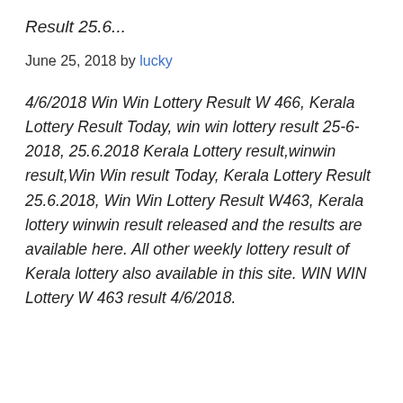Result 25.6...
June 25, 2018 by lucky
4/6/2018 Win Win Lottery Result W 466, Kerala Lottery Result Today, win win lottery result 25-6-2018, 25.6.2018 Kerala Lottery result,winwin result,Win Win result Today, Kerala Lottery Result 25.6.2018, Win Win Lottery Result W463, Kerala lottery winwin result released and the results are available here. All other weekly lottery result of Kerala lottery also available in this site. WIN WIN Lottery W 463 result 4/6/2018.